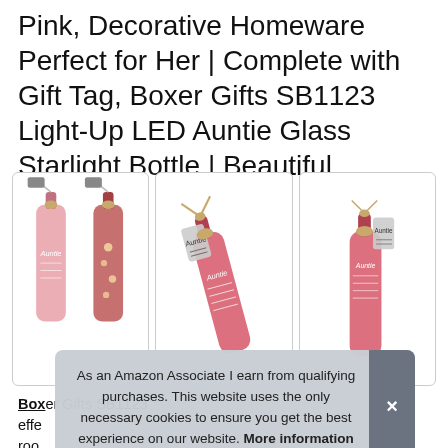Pink, Decorative Homeware Perfect for Her | Complete with Gift Tag, Boxer Gifts SB1123 Light-Up LED Auntie Glass Starlight Bottle | Beautiful
[Figure (photo): Three product images of pink LED glass starlight bottles labeled 'Auntie', shown in a row with rounded-corner borders. Left box shows two bottles side by side (one glowing), center shows a single tilted bottle with gift tag, right shows a single bottle upright with gift tag.]
Boxer Gifts SB1123 effects room lovely Gift tag making this the ultimate decor gift for your
As an Amazon Associate I earn from qualifying purchases. This website uses the only necessary cookies to ensure you get the best experience on our website. More information